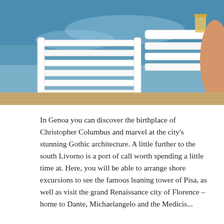[Figure (photo): Close-up photo of white wooden deck chairs/loungers with water and a drink visible in the background, and a person's leg/foot visible at the right edge.]
In Genoa you can discover the birthplace of Christopher Columbus and marvel at the city's stunning Gothic architecture. A little further to the south Livorno is a port of call worth spending a little time at. Here, you will be able to arrange shore excursions to see the famous leaning tower of Pisa, as well as visit the grand Renaissance city of Florence – home to Dante, Michaelangelo and the Medicis...
The Colosseum at Rome, Mount Vesuvius and the ancient city that it buried – Pompeii – are essential attractions to visit when on an Italy cruise, as is